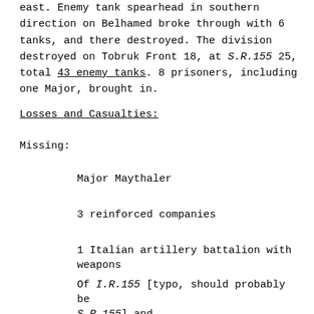east. Enemy tank spearhead in southern direction on Belhamed broke through with 6 tanks, and there destroyed. The division destroyed on Tobruk Front 18, at S.R.155 25, total 43 enemy tanks. 8 prisoners, including one Major, brought in.
Losses and Casualties:
Missing:
Major Maythaler
3 reinforced companies
1 Italian artillery battalion with weapons
Of I.R.155 [typo, should probably be S.R.155] and